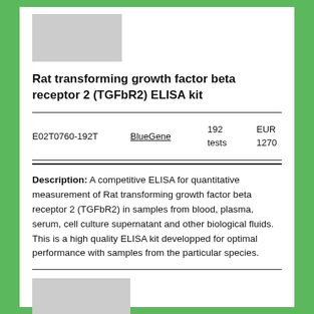[Figure (photo): Gray placeholder image at top of product listing]
Rat transforming growth factor beta receptor 2 (TGFbR2) ELISA kit
| Product ID | Supplier | Quantity | Price |
| --- | --- | --- | --- |
| E02T0760-192T | BlueGene | 192 tests | EUR 1270 |
Description: A competitive ELISA for quantitative measurement of Rat transforming growth factor beta receptor 2 (TGFbR2) in samples from blood, plasma, serum, cell culture supernatant and other biological fluids. This is a high quality ELISA kit developped for optimal performance with samples from the particular species.
[Figure (photo): Gray placeholder image at bottom of product listing with partial text label]